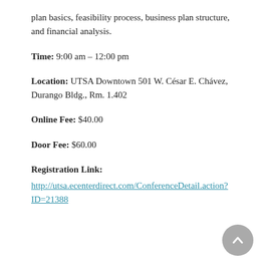plan basics, feasibility process, business plan structure, and financial analysis.
Time: 9:00 am – 12:00 pm
Location: UTSA Downtown 501 W. César E. Chávez, Durango Bldg., Rm. 1.402
Online Fee: $40.00
Door Fee: $60.00
Registration Link:
http://utsa.ecenterdirect.com/ConferenceDetail.action?ID=21388